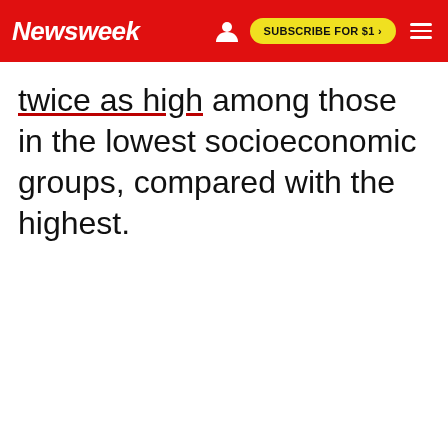Newsweek  |  SUBSCRIBE FOR $1 >
twice as high among those in the lowest socioeconomic groups, compared with the highest.